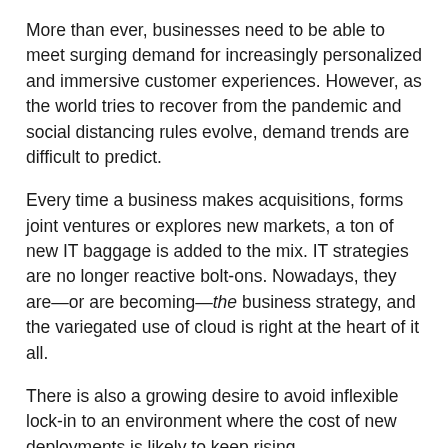More than ever, businesses need to be able to meet surging demand for increasingly personalized and immersive customer experiences. However, as the world tries to recover from the pandemic and social distancing rules evolve, demand trends are difficult to predict.
Every time a business makes acquisitions, forms joint ventures or explores new markets, a ton of new IT baggage is added to the mix. IT strategies are no longer reactive bolt-ons. Nowadays, they are—or are becoming—the business strategy, and the variegated use of cloud is right at the heart of it all.
There is also a growing desire to avoid inflexible lock-in to an environment where the cost of new deployments is likely to keep rising.
Variety is the spice of life
Cloud diversity can make it tricky to centrally manage your tech stack. Visibility gets splintered and disjointed. At the